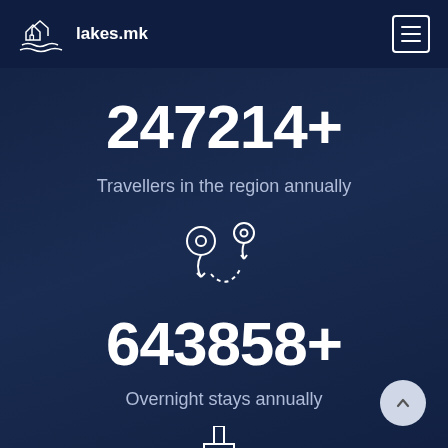lakes.mk
247214+
Travellers in the region annually
[Figure (illustration): Two map pin / location marker icons connected by a dotted path, rendered as white line art on dark blue background]
643858+
Overnight stays annually
[Figure (illustration): Cruise ship / ferry icon, white line art on dark blue background, partially visible at bottom of page]